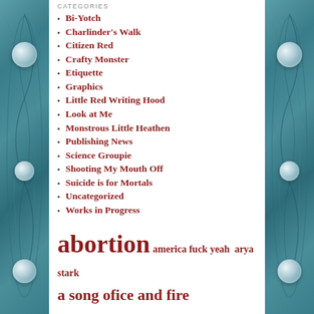CATEGORIES
Bi-Yotch
Charlinder's Walk
Citizen Red
Crafty Monster
Etiquette
Graphics
Little Red Writing Hood
Look at Me
Monstrous Little Heathen
Publishing News
Science Groupie
Shooting My Mouth Off
Suicide is for Mortals
Uncategorized
Works in Progress
abortion america fuck yeah arya stark a song ofice and fire assholes to the right of me atheism